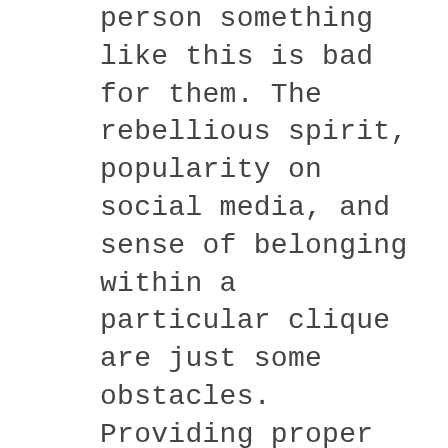person something like this is bad for them. The rebellious spirit, popularity on social media, and sense of belonging within a particular clique are just some obstacles. Providing proper education is a great first step in prevention and helping get underage users away from continued use. PSA offers products to help you get the conversation started to educate and provide the facts around vaping, e-cigs and hookahs as well as other addictive substances.
Despite the amount of education provided and discussions had, we know our younger generation will still experiment with risky